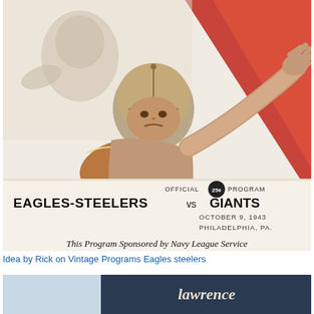[Figure (illustration): Vintage football program cover showing illustrated football players in action — a player in a leather helmet holding a football while another player reaches with outstretched arms. Red, orange, and cream background. Text reads: OFFICIAL 25¢ PROGRAM / EAGLES-STEELERS vs GIANTS / OCTOBER 9, 1943 / PHILADELPHIA, PA. / This Program Sponsored by Navy League Service]
Idea by Rick on Vintage Programs Eagles steelers
[Figure (photo): Partial photo/image at bottom of page, partially cut off, showing text 'Lawrence' in script on a dark background with blue tones]